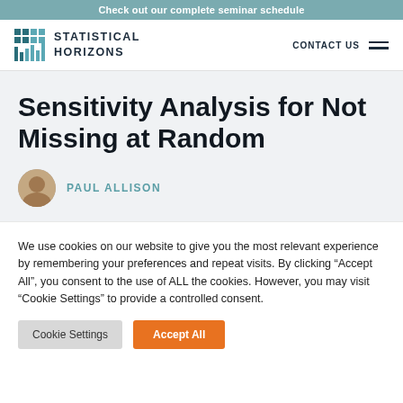Check out our complete seminar schedule
[Figure (logo): Statistical Horizons logo with teal bar chart icon and text STATISTICAL HORIZONS]
CONTACT US
Sensitivity Analysis for Not Missing at Random
PAUL ALLISON
We use cookies on our website to give you the most relevant experience by remembering your preferences and repeat visits. By clicking "Accept All", you consent to the use of ALL the cookies. However, you may visit "Cookie Settings" to provide a controlled consent.
Cookie Settings
Accept All